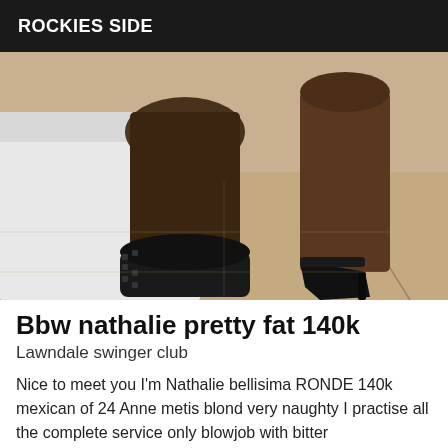ROCKIES SIDE
[Figure (photo): Close-up photo of a person's legs wearing black high-heeled shoes, standing beside a bed with white sheets on a tiled floor]
Bbw nathalie pretty fat 140k
Lawndale swinger club
Nice to meet you I'm Nathalie bellisima RONDE 140k mexican of 24 Anne metis blond very naughty I practise all the complete service only blowjob with bitter